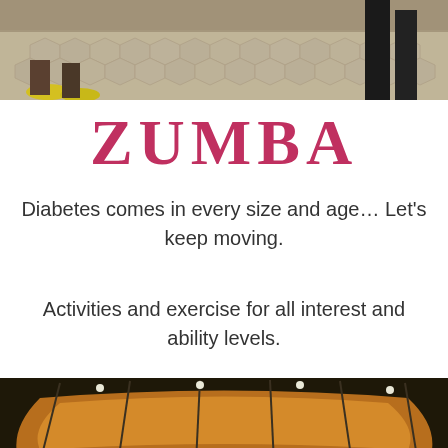[Figure (photo): Top portion of a photo showing people's feet/legs on a hexagonal patterned floor, with yellow sneakers visible on the left and a person in dark pants on the right]
ZUMBA
Diabetes comes in every size and age… Let's keep moving.
Activities and exercise for all interest and ability levels.
[Figure (photo): Indoor photo of a group of people standing in a circle in a room with a decorative golden-lit ceiling, appearing to participate in a group activity or exercise class]